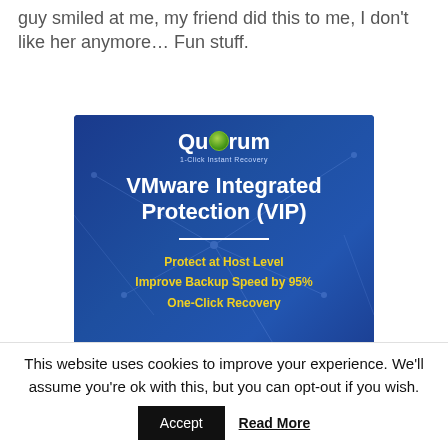guy smiled at me, my friend did this to me, I don't like her anymore… Fun stuff.
[Figure (illustration): Advertisement banner for Quorum 1-Click Instant Recovery featuring VMware Integrated Protection (VIP). Dark blue background with network pattern. Logo shows 'Quorum' with a green circle icon. Yellow text lists: Protect at Host Level, Improve Backup Speed by 95%, One-Click Recovery. Orange button at bottom reads 'See Recorded Demo'.]
This website uses cookies to improve your experience. We'll assume you're ok with this, but you can opt-out if you wish.
Accept
Read More